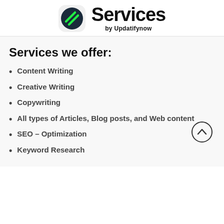[Figure (logo): Logo icon with two green diagonal stripes on dark circle background, rounded square shape. Brand name 'Services' in bold black large font, subtitle 'by Updatifynow' below.]
Services we offer:
Content Writing
Creative Writing
Copywriting
All types of Articles, Blog posts, and Web content
SEO – Optimization
Keyword Research